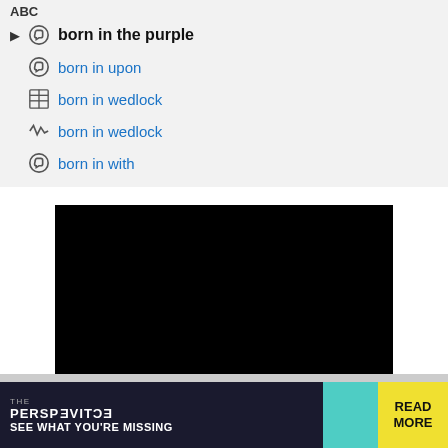ABC
born in the purple
born in upon
born in wedlock
born in wedlock
born in with
[Figure (screenshot): Black video player embed with a circular menu/hamburger button at the bottom center]
[Figure (infographic): Advertisement banner: THE PERSPECTIVE - SEE WHAT YOU'RE MISSING - READ MORE, with dark navy, teal and yellow color scheme]